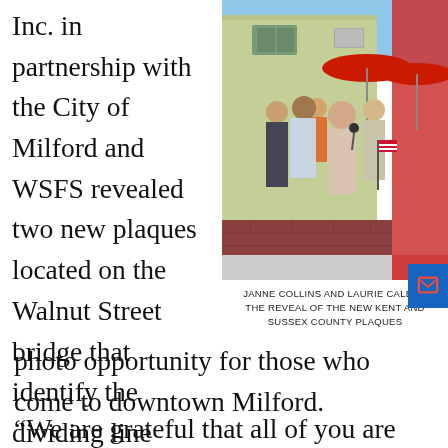Inc. in partnership with the City of Milford and WSFS revealed two new plaques located on the Walnut Street bridge that identify the dividing line between Kent and Sussex Counties. The new plaques are designed as a photo opportunity for those who come to downtown Milford.
[Figure (photo): Group of people standing outdoors near a brick wall with red umbrellas in background, at the reveal of new Kent and Sussex County plaques on the Walnut Street bridge in Milford.]
JANNE COLLINS AND LAURIE CALE AT THE REVEAL OF THE NEW KENT AND SUSSEX COUNTY PLAQUES
“We are grateful that all of you are able to be with us today for the unveiling of our Kent and S...